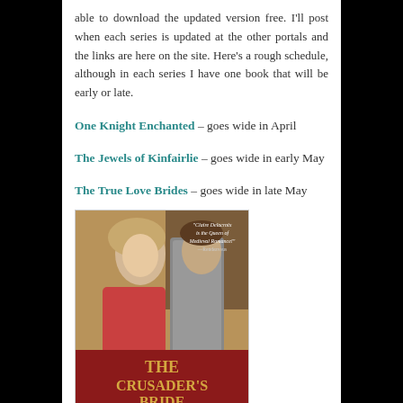able to download the updated version free. I'll post when each series is updated at the other portals and the links are here on the site. Here's a rough schedule, although in each series I have one book that will be early or late.
One Knight Enchanted – goes wide in April
The Jewels of Kinfairlie – goes wide in early May
The True Love Brides – goes wide in late May
[Figure (photo): Book cover of 'The Crusader's Bride' showing a woman with blonde hair leaning against a man in chainmail armor. Text on cover reads 'Claire Delacroix is the Queen of Medieval Romance! —Rendezvous' and 'THE CRUSADER'S BRIDE']